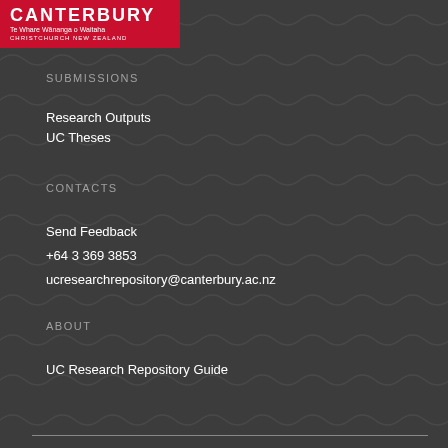[Figure (logo): University of Canterbury logo - Te Whare Wānanga o Waitaha, Christchurch New Zealand]
SUBMISSIONS
Research Outputs
UC Theses
CONTACTS
Send Feedback
+64 3 369 3853
ucresearchrepository@canterbury.ac.nz
ABOUT
UC Research Repository Guide